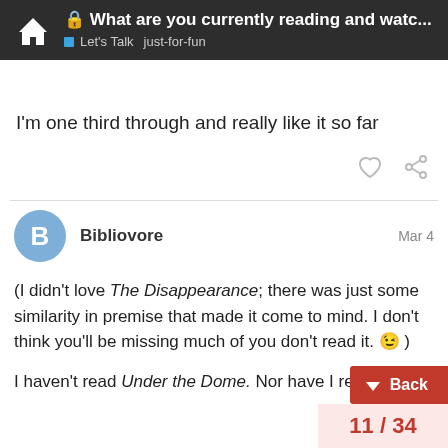What are you currently reading and watc... | Let's Talk  just-for-fun
I'm one third through and really like it so far
Bibliovore  Mar 4
(I didn't love The Disappearance; there was just some similarity in premise that made it come to mind. I don't think you'll be missing much of you don't read it. 😉 )

I haven't read Under the Dome. Nor have I read The Martian, which as I understand it also focuses a lot on isolation, solitude, and survival, and whic...st...
11 / 34